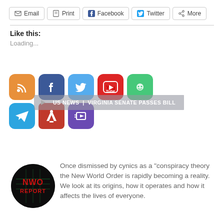[Figure (infographic): Social sharing buttons row: Email, Print, Facebook, Twitter, More]
Like this:
Loading...
[Figure (infographic): Social media icon grid: RSS (orange), Facebook (blue), Twitter (light blue), YouTube (red), Reddit (green), Telegram (blue), AltMedia (red), Triller (purple). Navigation overlay reads: US NEWS | VIRGINIA SENATE PASSES BILL]
Once dismissed by cynics as a "conspiracy theory the New World Order is rapidly becoming a reality. We look at its origins, how it operates and how it affects the lives of everyone.